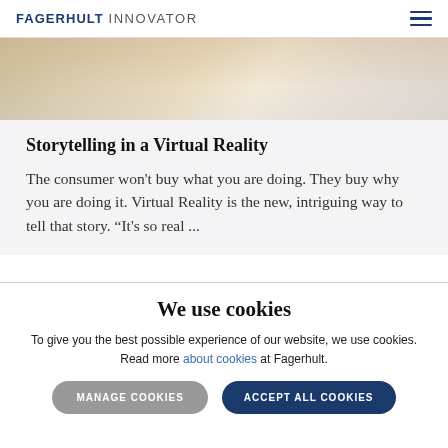FAGERHULT INNOVATOR
[Figure (photo): Partial image of a lighting product or scene, cropped at the top]
Storytelling in a Virtual Reality
The consumer won't buy what you are doing. They buy why you are doing it. Virtual Reality is the new, intriguing way to tell that story. "It's so real ...
We use cookies
To give you the best possible experience of our website, we use cookies. Read more about cookies at Fagerhult.